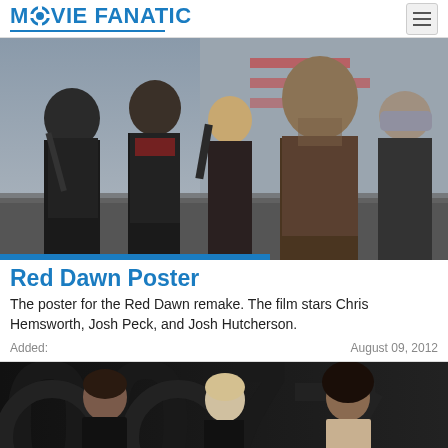MOVIE FANATIC
[Figure (photo): Red Dawn remake movie poster showing Chris Hemsworth, Josh Peck, Josh Hutcherson and other cast members holding weapons against a dark background]
Red Dawn Poster
The poster for the Red Dawn remake. The film stars Chris Hemsworth, Josh Peck, and Josh Hutcherson.
Added:
August 09, 2012
[Figure (photo): Partial view of what appears to be a James Bond (007) movie poster showing three cast members including two women and a man against a dark background with large 007 text]